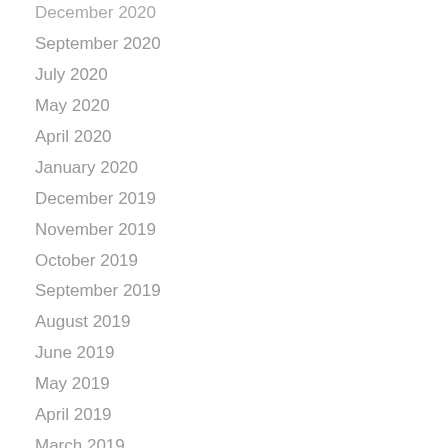December 2020
September 2020
July 2020
May 2020
April 2020
January 2020
December 2019
November 2019
October 2019
September 2019
August 2019
June 2019
May 2019
April 2019
March 2019
February 2019
September 2018